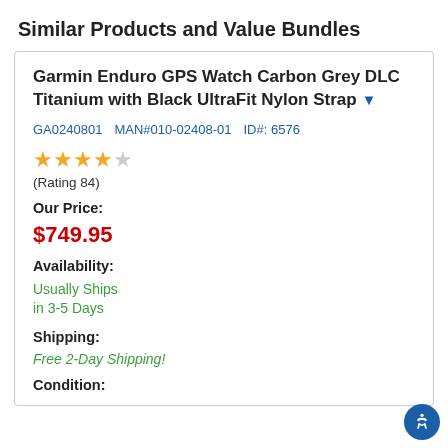Similar Products and Value Bundles
Garmin Enduro GPS Watch Carbon Grey DLC Titanium with Black UltraFit Nylon Strap
GA0240801   MAN#010-02408-01   ID#: 6576
(Rating 84)
Our Price:
$749.95
Availability:
Usually Ships in 3-5 Days
Shipping:
Free 2-Day Shipping!
Condition: